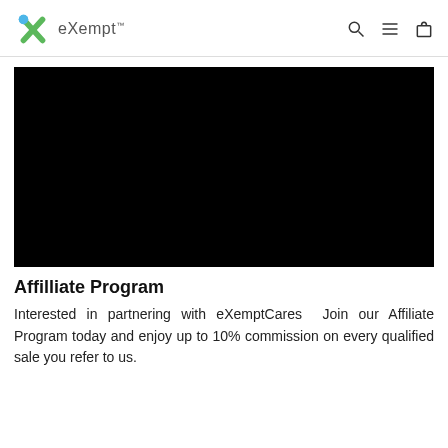eXempt™
[Figure (other): Black rectangle representing a video or image placeholder]
Affilliate Program
Interested in partnering with eXemptCares  Join our Affiliate Program today and enjoy up to 10%...